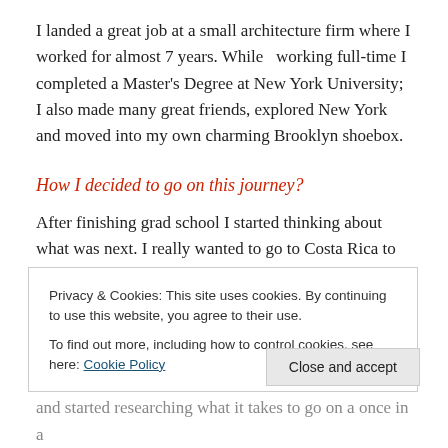I landed a great job at a small architecture firm where I worked for almost 7 years. While  working full-time I completed a Master's Degree at New York University; I also made many great friends, explored New York and moved into my own charming Brooklyn shoebox.
How I decided to go on this journey?
After finishing grad school I started thinking about what was next. I really wanted to go to Costa Rica to practice my Spanish, catch a few waves and CTFO (chill the F...
Privacy & Cookies: This site uses cookies. By continuing to use this website, you agree to their use.
To find out more, including how to control cookies, see here: Cookie Policy
and started researching what it takes to go on a once in a